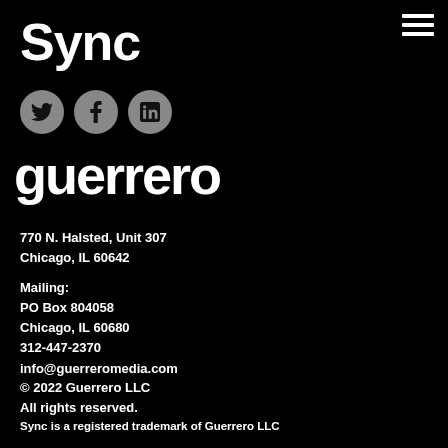Sync
[Figure (logo): Three circular social media icons (Twitter, Facebook, LinkedIn) in grey on black background]
[Figure (logo): Guerrero logo in large bold white text on black background]
770 N. Halsted, Unit 307
Chicago, IL 60642
Mailing:
PO Box 804058
Chicago, IL 60680
312-447-2370
info@guerreromedia.com
© 2022 Guerrero LLC
All rights reserved.
Sync is a registered trademark of Guerrero LLC